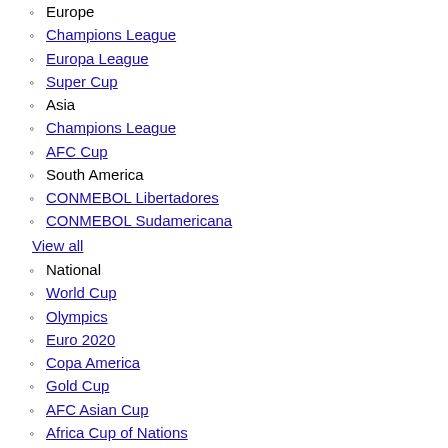Europe
Champions League
Europa League
Super Cup
Asia
Champions League
AFC Cup
South America
CONMEBOL Libertadores
CONMEBOL Sudamericana
View all
National
World Cup
Olympics
Euro 2020
Copa America
Gold Cup
AFC Asian Cup
Africa Cup of Nations
Confederations Cup
U20 World Cup
Euro U21 Champ
View all
Youth
National
U20 World C...